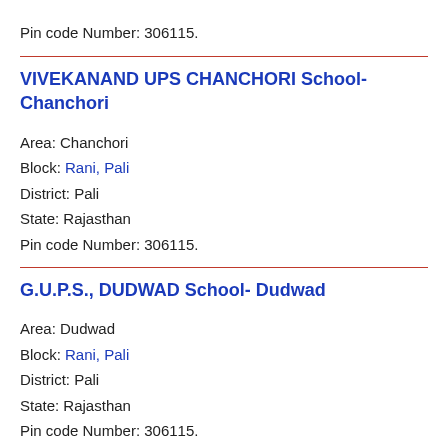Pin code Number: 306115.
VIVEKANAND UPS CHANCHORI School- Chanchori
Area: Chanchori
Block: Rani, Pali
District: Pali
State: Rajasthan
Pin code Number: 306115.
G.U.P.S., DUDWAD School- Dudwad
Area: Dudwad
Block: Rani, Pali
District: Pali
State: Rajasthan
Pin code Number: 306115.